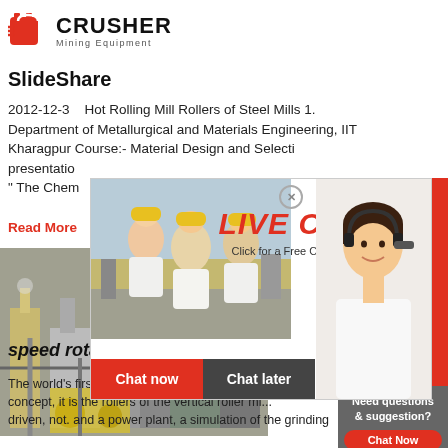[Figure (logo): CRUSHER Mining Equipment logo with red shopping bag icon]
SlideShare
2012-12-3   Hot Rolling Mill Rollers of Steel Mills 1. Department of Metallurgical and Materials Engineering, IIT Kharagpur Course:- Material Design and Selection A brief presentation ... " The Chem...
Read More
[Figure (photo): Industrial machinery / plant equipment photo]
[Figure (infographic): Live Chat overlay popup with workers in hardhats, LIVE CHAT title, Click for a Free Consultation, Chat now and Chat later buttons, and agent photo]
speed rotation vertical roller mill
The world's first vertical roller mill with driven. concept, it is the rollers of the vertical roller mi... driven, not. and a power plant, a simulation of the grinding
[Figure (infographic): Right sidebar with 24Hrs Online banner, Need questions & suggestion chat box, Enquiry bar, and limingjlmofen@sina.com contact]